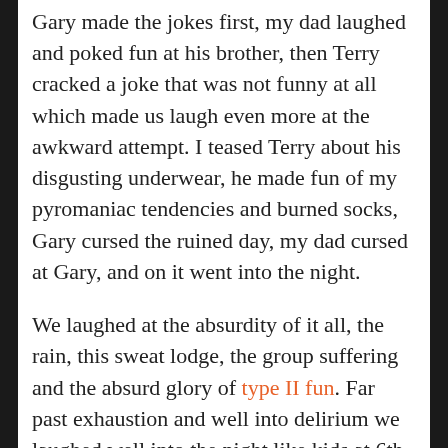Gary made the jokes first, my dad laughed and poked fun at his brother, then Terry cracked a joke that was not funny at all which made us laugh even more at the awkward attempt. I teased Terry about his disgusting underwear, he made fun of my pyromaniac tendencies and burned socks, Gary cursed the ruined day, my dad cursed at Gary, and on it went into the night.
We laughed at the absurdity of it all, the rain, this sweat lodge, the group suffering and the absurd glory of type II fun. Far past exhaustion and well into delirium we laughed well into the night like kids at 6th grade camp whom the counselor had decided to let stay up past curfew. My side